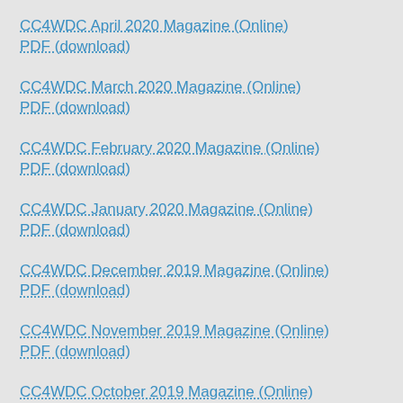CC4WDC April 2020 Magazine (Online)
PDF (download)
CC4WDC March 2020 Magazine (Online)
PDF (download)
CC4WDC February 2020 Magazine (Online)
PDF (download)
CC4WDC January 2020 Magazine (Online)
PDF (download)
CC4WDC December 2019 Magazine (Online)
PDF (download)
CC4WDC November 2019 Magazine (Online)
PDF (download)
CC4WDC October 2019 Magazine (Online)